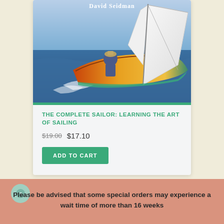[Figure (photo): Book cover photo showing a person sailing a wooden sailboat on blue ocean water, with white sails and text 'David Seidman' at top]
THE COMPLETE SAILOR: LEARNING THE ART OF SAILING
$19.00  $17.10
ADD TO CART
Please be advised that some special orders may experience a wait time of more than 16 weeks